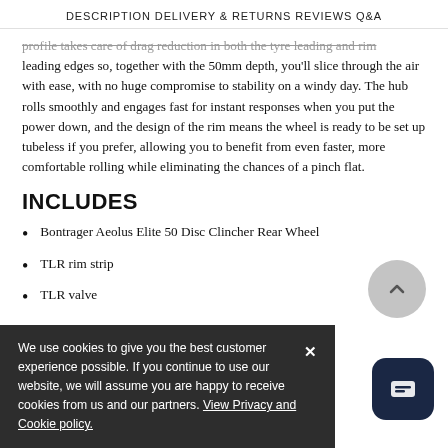DESCRIPTION   DELIVERY & RETURNS   REVIEWS   Q&A
profile takes care of drag reduction in both the tyre leading and rim leading edges so, together with the 50mm depth, you'll slice through the air with ease, with no huge compromise to stability on a windy day. The hub rolls smoothly and engages fast for instant responses when you put the power down, and the design of the rim means the wheel is ready to be set up tubeless if you prefer, allowing you to benefit from even faster, more comfortable rolling while eliminating the chances of a pinch flat.
INCLUDES
Bontrager Aeolus Elite 50 Disc Clincher Rear Wheel
TLR rim strip
TLR valve
We use cookies to give you the best customer experience possible. If you continue to use our website, we will assume you are happy to receive cookies from us and our partners. View Privacy and Cookie policy.